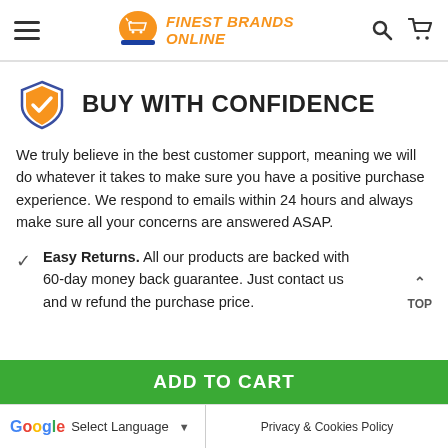Finest Brands Online — navigation header with hamburger menu, logo, search and cart icons
BUY WITH CONFIDENCE
We truly believe in the best customer support, meaning we will do whatever it takes to make sure you have a positive purchase experience. We respond to emails within 24 hours and always make sure all your concerns are answered ASAP.
Easy Returns. All our products are backed with 60-day money back guarantee. Just contact us and w refund the purchase price.
ADD TO CART | Select Language | Privacy & Cookies Policy